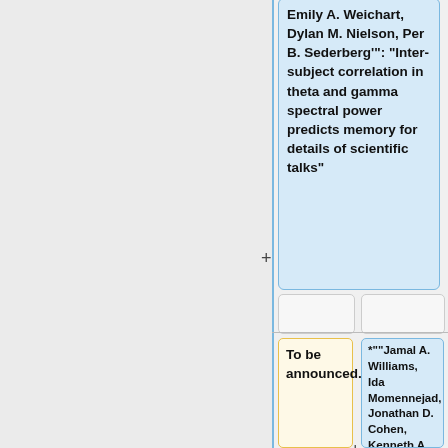Emily A. Weichart, Dylan M. Nielson, Per B. Sederberg": "Inter-subject correlation in theta and gamma spectral power predicts memory for details of scientific talks"
To be announced.
*""Jamal A. Williams, Ida Momennejad, Jonathan D. Cohen, Kenneth A. Norman"' :"Taking the same pill twice: the role of